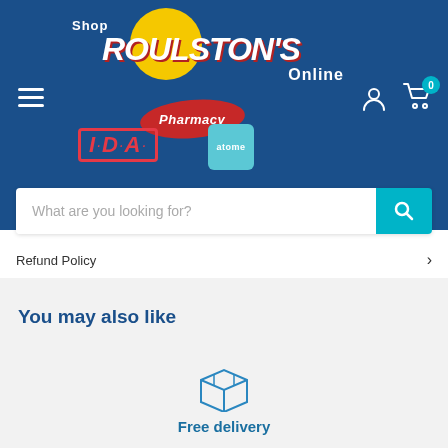[Figure (screenshot): Roulston's Pharmacy IDA online shop header with logo, hamburger menu, user icon, cart icon, and search bar]
Refund Policy
You may also like
[Figure (illustration): Box/package icon representing free delivery]
Free delivery